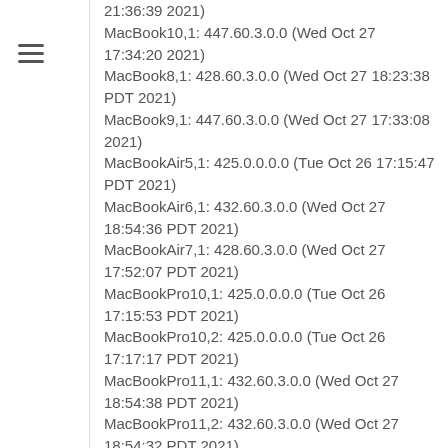21:36:39 2021)
MacBook10,1: 447.60.3.0.0 (Wed Oct 27 17:34:20 2021)
MacBook8,1: 428.60.3.0.0 (Wed Oct 27 18:23:38 PDT 2021)
MacBook9,1: 447.60.3.0.0 (Wed Oct 27 17:33:08 2021)
MacBookAir5,1: 425.0.0.0.0 (Tue Oct 26 17:15:47 PDT 2021)
MacBookAir6,1: 432.60.3.0.0 (Wed Oct 27 18:54:36 PDT 2021)
MacBookAir7,1: 428.60.3.0.0 (Wed Oct 27 17:52:07 PDT 2021)
MacBookPro10,1: 425.0.0.0.0 (Tue Oct 26 17:15:53 PDT 2021)
MacBookPro10,2: 425.0.0.0.0 (Tue Oct 26 17:17:17 PDT 2021)
MacBookPro11,1: 432.60.3.0.0 (Wed Oct 27 18:54:38 PDT 2021)
MacBookPro11,2: 432.60.3.0.0 (Wed Oct 27 18:54:32 PDT 2021)
MacBookPro11,4: 428.60.3.0.0 (Wed